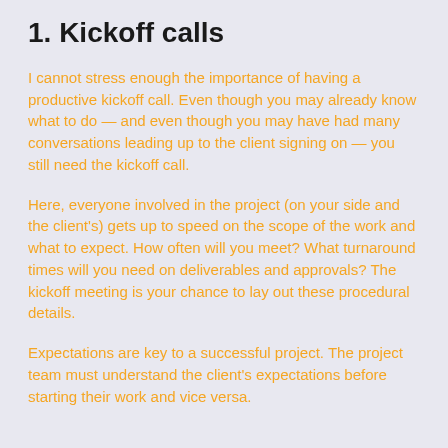1. Kickoff calls
I cannot stress enough the importance of having a productive kickoff call. Even though you may already know what to do — and even though you may have had many conversations leading up to the client signing on — you still need the kickoff call.
Here, everyone involved in the project (on your side and the client's) gets up to speed on the scope of the work and what to expect. How often will you meet? What turnaround times will you need on deliverables and approvals? The kickoff meeting is your chance to lay out these procedural details.
Expectations are key to a successful project. The project team must understand the client's expectations before starting their work and vice versa.